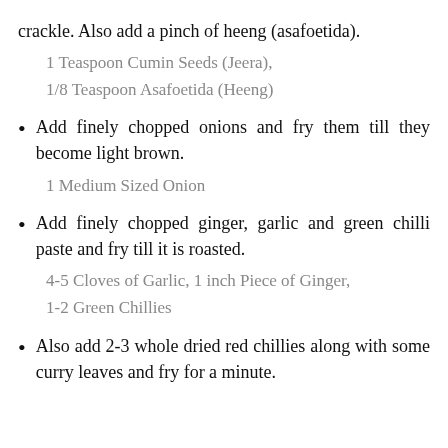crackle. Also add a pinch of heeng (asafoetida).
1 Teaspoon Cumin Seeds (Jeera),
1/8 Teaspoon Asafoetida (Heeng)
Add finely chopped onions and fry them till they become light brown.
1 Medium Sized Onion
Add finely chopped ginger, garlic and green chilli paste and fry till it is roasted.
4-5 Cloves of Garlic, 1 inch Piece of Ginger,
1-2 Green Chillies
Also add 2-3 whole dried red chillies along with some curry leaves and fry for a minute.